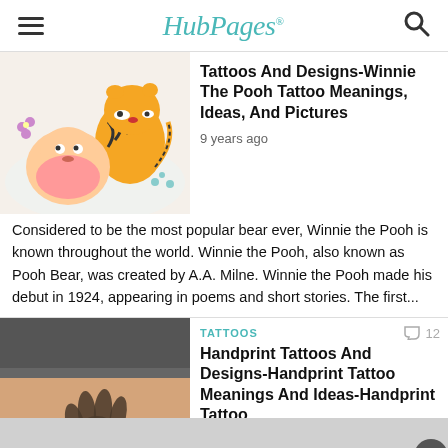HubPages
Tattoos And Designs-Winnie The Pooh Tattoo Meanings, Ideas, And Pictures
9 years ago
Considered to be the most popular bear ever, Winnie the Pooh is known throughout the world. Winnie the Pooh, also known as Pooh Bear, was created by A.A. Milne. Winnie the Pooh made his debut in 1924, appearing in poems and short stories. The first...
[Figure (photo): Winnie the Pooh and Tigger cartoon tattoo illustration]
TATTOOS
Handprint Tattoos And Designs-Handprint Tattoo Meanings And Ideas-Handprint Tattoo
[Figure (photo): Handprint tattoo on person's side/hip area]
12